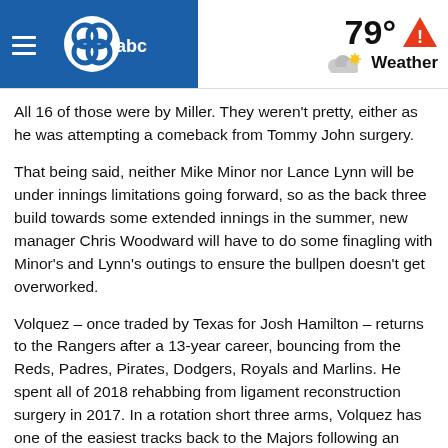79° Weather
All 16 of those were by Miller. They weren't pretty, either as he was attempting a comeback from Tommy John surgery.
That being said, neither Mike Minor nor Lance Lynn will be under innings limitations going forward, so as the back three build towards some extended innings in the summer, new manager Chris Woodward will have to do some finagling with Minor's and Lynn's outings to ensure the bullpen doesn't get overworked.
Volquez – once traded by Texas for Josh Hamilton – returns to the Rangers after a 13-year career, bouncing from the Reds, Padres, Pirates, Dodgers, Royals and Marlins. He spent all of 2018 rehabbing from ligament reconstruction surgery in 2017. In a rotation short three arms, Volquez has one of the easiest tracks back to the Majors following an injury-robbed season.
So, too, does Drew Smyly. Smyly, whose most recent stop